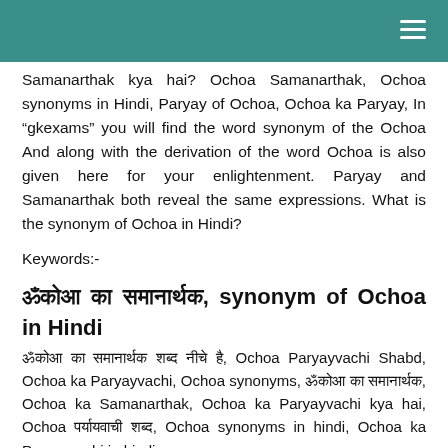Samanarthak kya hai? Ochoa Samanarthak, Ochoa synonyms in Hindi, Paryay of Ochoa, Ochoa ka Paryay, In “gkexams” you will find the word synonym of the Ochoa And along with the derivation of the word Ochoa is also given here for your enlightenment. Paryay and Samanarthak both reveal the same expressions. What is the synonym of Ochoa in Hindi?
Keywords:-
ओकोआ का समानार्थक, synonym of Ochoa in Hindi
ओकोआ का समानार्थक शब्द नीचे है, Ochoa Paryayvachi Shabd, Ochoa ka Paryayvachi, Ochoa synonyms, ओकोआ का समानार्थक, Ochoa ka Samanarthak, Ochoa ka Paryayvachi kya hai, Ochoa पर्यायवाची शब्द, Ochoa synonyms in hindi, Ochoa ka Paryayvachi in hindi